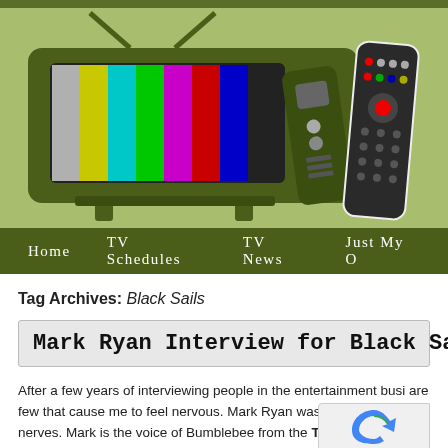[Figure (illustration): TV blog website header with illustrated retro TV set showing color bars and two remote controls on a green background, with partial text 'TV' visible on the right]
Home   TV Schedules   TV News   Just My O
Tag Archives: Black Sails
Mark Ryan Interview for Black Sa
After a few years of interviewing people in the entertainment busi... are few that cause me to feel nervous. Mark Ryan was one that s... nerves. Mark is the voice of Bumblebee from the Transformers fi... films, which to some is not as exciting, but to me, it is amazing. I love